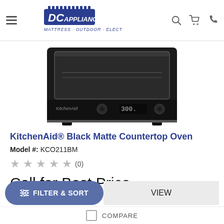[Figure (logo): DC Appliance logo with text MATTRESS · OUTDOOR · ELECTRONICS]
[Figure (photo): KitchenAid Black Matte Countertop Oven product photo, black appliance with digital display showing 300, front view]
KitchenAid® Black Matte Countertop Oven
Model #: KCO211BM
★★★★★ (0)
Call for Best Price